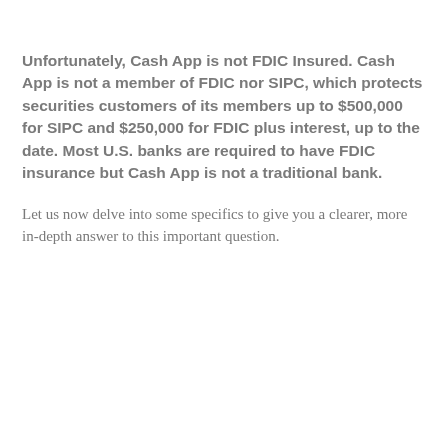Unfortunately, Cash App is not FDIC Insured. Cash App is not a member of FDIC nor SIPC, which protects securities customers of its members up to $500,000 for SIPC and $250,000 for FDIC plus interest, up to the date. Most U.S. banks are required to have FDIC insurance but Cash App is not a traditional bank.
Let us now delve into some specifics to give you a clearer, more in-depth answer to this important question.